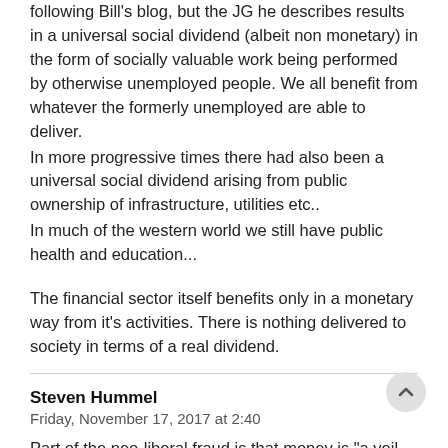following Bill’s blog, but the JG he describes results in a universal social dividend (albeit non monetary) in the form of socially valuable work being performed by otherwise unemployed people. We all benefit from whatever the formerly unemployed are able to deliver.
In more progressive times there had also been a universal social dividend arising from public ownership of infrastructure, utilities etc..
In much of the western world we still have public health and education...
The financial sector itself benefits only in a monetary way from it’s activities. There is nothing delivered to society in terms of a real dividend.
Steven Hummel
Friday, November 17, 2017 at 2:40
Part of the neo-liberal fraud is that money is “a veil over